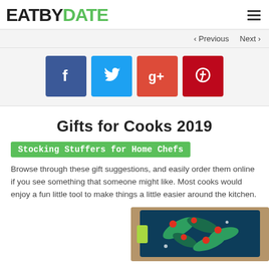EATBYDATE
< Previous   Next >
[Figure (other): Social media share buttons: Facebook (blue), Twitter (light blue), Google+ (red-orange), Pinterest (dark red)]
Gifts for Cooks 2019
Stocking Stuffers for Home Chefs
Browse through these gift suggestions, and easily order them online if you see something that someone might like. Most cooks would enjoy a fun little tool to make things a little easier around the kitchen.
[Figure (photo): A colorful kitchen-themed cutting board or gift item with green leaf patterns and red dot decorations against a tan/brown background, with a green sponge or scrubber visible.]